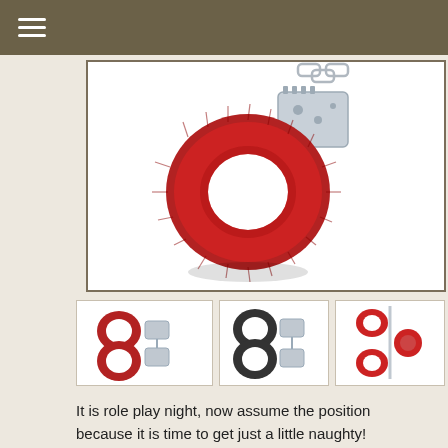[Figure (photo): Large product image of red fur-lined handcuffs with a silver metal clasp and chain, displayed against a white background with a slight shadow underneath.]
[Figure (photo): Thumbnail image showing red fur handcuffs, front view.]
[Figure (photo): Thumbnail image showing black fur handcuffs.]
[Figure (photo): Thumbnail image showing handcuffs with red accessories, side view.]
It is role play night, now assume the position because it is time to get just a little naughty!